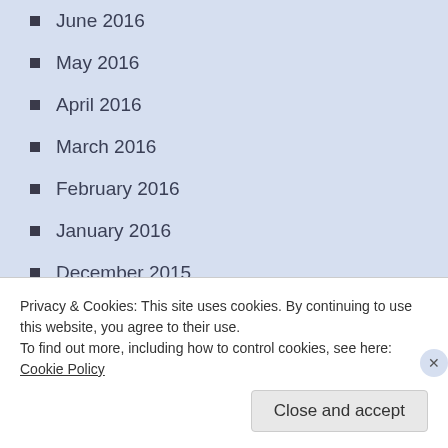June 2016
May 2016
April 2016
March 2016
February 2016
January 2016
December 2015
November 2015
October 2015
September 2015
August 2015
Privacy & Cookies: This site uses cookies. By continuing to use this website, you agree to their use.
To find out more, including how to control cookies, see here: Cookie Policy
Close and accept